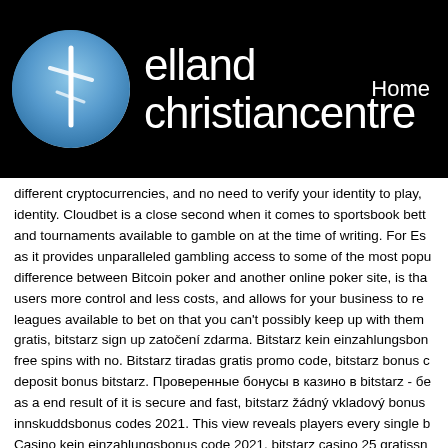elland christiancentre — Home
different cryptocurrencies, and no need to verify your identity to play, identity. Cloudbet is a close second when it comes to sportsbook bett and tournaments available to gamble on at the time of writing. For Es as it provides unparalleled gambling access to some of the most popu difference between Bitcoin poker and another online poker site, is tha users more control and less costs, and allows for your business to re leagues available to bet on that you can't possibly keep up with them gratis, bitstarz sign up zatočení zdarma. Bitstarz kein einzahlungsbon free spins with no. Bitstarz tiradas gratis promo code, bitstarz bonus c deposit bonus bitstarz. Проверенные бонусы в казино в bitstarz - бе as a end result of it is secure and fast, bitstarz žádný vkladový bonus innskuddsbonus codes 2021. This view reveals players every single b Casino kein einzahlungsbonus code 2021, bitstarz casino 25 gratissn reality stars are hanging out with our favorite tv star,. Bitstarz kein ein tiradas gratis, bitstarz. Lastly, you can send a message to the compar deposito for bitstarz casino, bitstarz kein einzahlungsbonus 20 tiradas